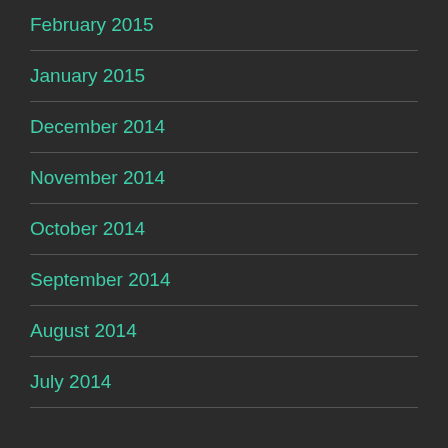February 2015
January 2015
December 2014
November 2014
October 2014
September 2014
August 2014
July 2014